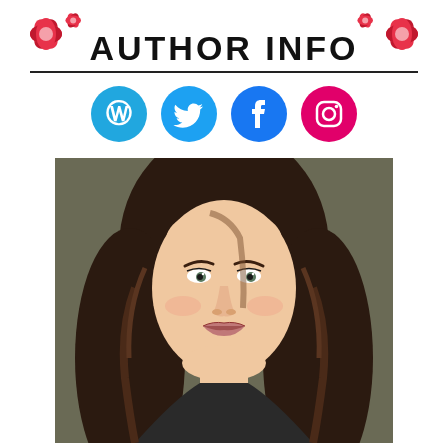AUTHOR INFO
[Figure (infographic): Four social media icon circles: WordPress (cyan-blue), Twitter (sky blue), Facebook (blue), Instagram (hot pink)]
[Figure (photo): Portrait photo of a young woman with long dark wavy hair, light skin, subtle smile, looking at camera against a dark olive/grey background.]